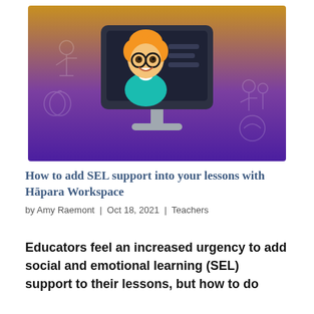[Figure (illustration): Illustration of a cartoon female teacher with curly orange hair and glasses, displayed on a computer monitor screen. The background is a gradient from golden/yellow at the top to deep purple at the bottom, with faint outlined icons of educational themes (people, apples, books) in the background.]
How to add SEL support into your lessons with Hāpara Workspace
by Amy Raemont | Oct 18, 2021 | Teachers
Educators feel an increased urgency to add social and emotional learning (SEL) support to their lessons, but how to do